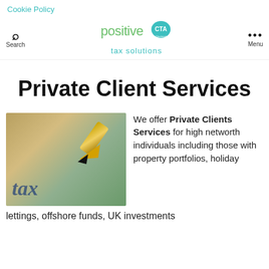Cookie Policy
[Figure (logo): Positive Tax Solutions logo with CTA Chartered Tax Advisors badge]
Private Client Services
[Figure (photo): Close-up photo of a fountain pen nib on a document with the word 'tax' visible]
We offer Private Clients Services for high networth individuals including those with property portfolios, holiday lettings, offshore funds, UK investments